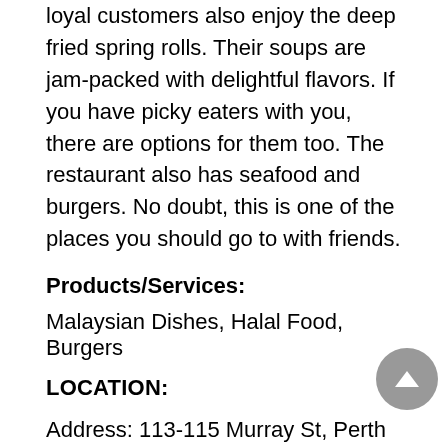loyal customers also enjoy the deep fried spring rolls. Their soups are jam-packed with delightful flavors. If you have picky eaters with you, there are options for them too. The restaurant also has seafood and burgers. No doubt, this is one of the places you should go to with friends.
Products/Services:
Malaysian Dishes, Halal Food, Burgers
LOCATION:
Address: 113-115 Murray St, Perth WA 6000
Phone: (402) 679 008
Website: insans-cafe.business.site